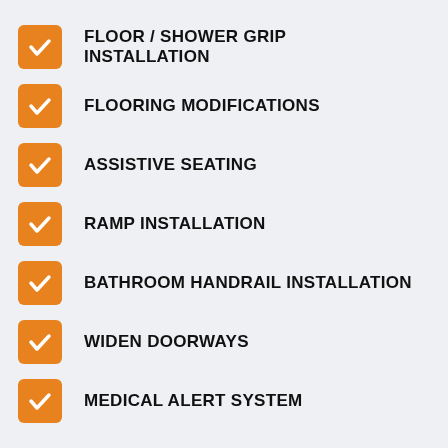FLOOR / SHOWER GRIP INSTALLATION
FLOORING MODIFICATIONS
ASSISTIVE SEATING
RAMP INSTALLATION
BATHROOM HANDRAIL INSTALLATION
WIDEN DOORWAYS
MEDICAL ALERT SYSTEM